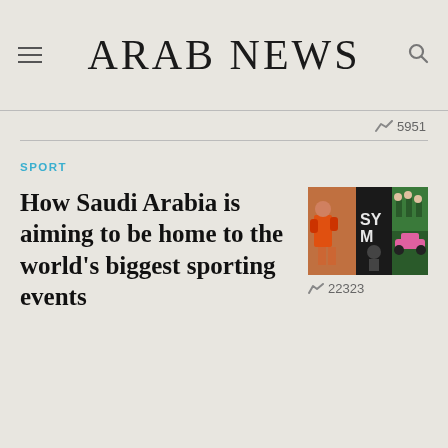ARAB NEWS
5951
SPORT
How Saudi Arabia is aiming to be home to the world's biggest sporting events
[Figure (photo): Collage of sporting events including boxing, Formula 1 racing, and other sports]
22323